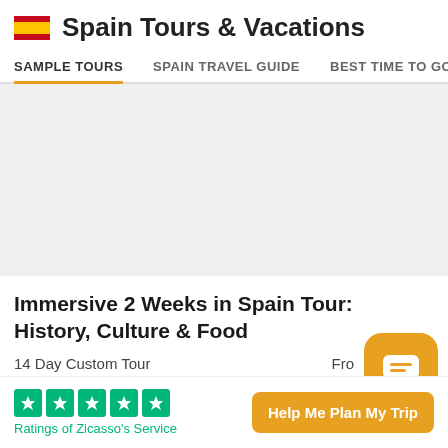Spain Tours & Vacations
SAMPLE TOURS  SPAIN TRAVEL GUIDE  BEST TIME TO GO
[Figure (photo): Gray placeholder image area for a Spain tour photo]
Immersive 2 Weeks in Spain Tour: History, Culture & Food
14 Day Custom Tour
Fro[m...]
[Figure (illustration): Orange rounded square chat/message bubble button overlay]
[Figure (logo): Trustpilot green star ratings - 5 stars]
Ratings of Zicasso's Service
Help Me Plan My Trip